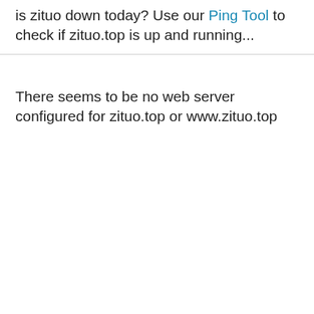is zituo down today? Use our Ping Tool to check if zituo.top is up and running...
There seems to be no web server configured for zituo.top or www.zituo.top